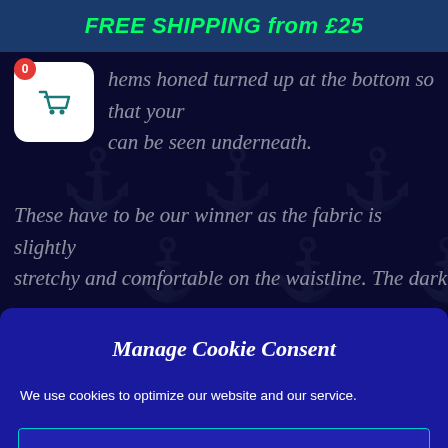FREE SHIPPING from £25
...hems honed turned up at the bottom so that your can be seen underneath.
These have to be our winner as the fabric is slightly stretchy and comfortable on the waistline. The dark
Manage Cookie Consent
We use cookies to optimize our website and our service.
ACCEPT
DENY
VIEW PREFERENCES